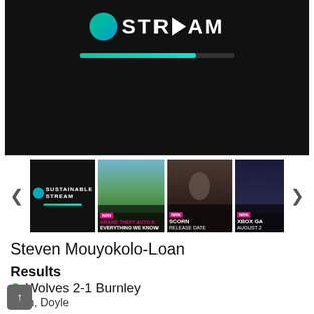[Figure (screenshot): Video player showing 'Sustainable Stream' logo on black background with a teal progress bar]
[Figure (screenshot): Thumbnail carousel with 4 items: Sustainable Stream, Grand Theft Auto 6 Everything We Know (NRN), Scorn Release Date (NRN), Xbox Games August (NRN)]
Steven Mouyokolo-Loan
Results
Wolves 2-1 Burnley
Nem, Doyle
Wolves 2-0 Peterborough
Doyle(2)